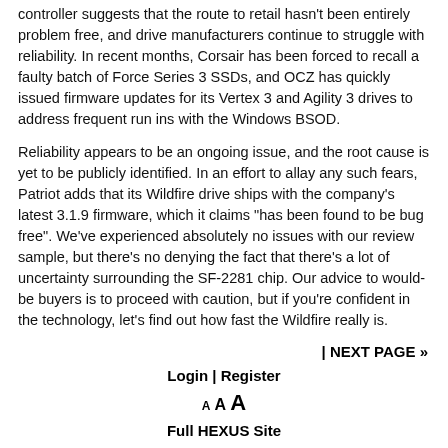controller suggests that the route to retail hasn't been entirely problem free, and drive manufacturers continue to struggle with reliability. In recent months, Corsair has been forced to recall a faulty batch of Force Series 3 SSDs, and OCZ has quickly issued firmware updates for its Vertex 3 and Agility 3 drives to address frequent run ins with the Windows BSOD.
Reliability appears to be an ongoing issue, and the root cause is yet to be publicly identified. In an effort to allay any such fears, Patriot adds that its Wildfire drive ships with the company's latest 3.1.9 firmware, which it claims "has been found to be bug free". We've experienced absolutely no issues with our review sample, but there's no denying the fact that there's a lot of uncertainty surrounding the SF-2281 chip. Our advice to would-be buyers is to proceed with caution, but if you're confident in the technology, let's find out how fast the Wildfire really is.
| NEXT PAGE »
Login | Register
A A A
Full HEXUS Site

About Us · Contact Us · Advertise · T&Cs